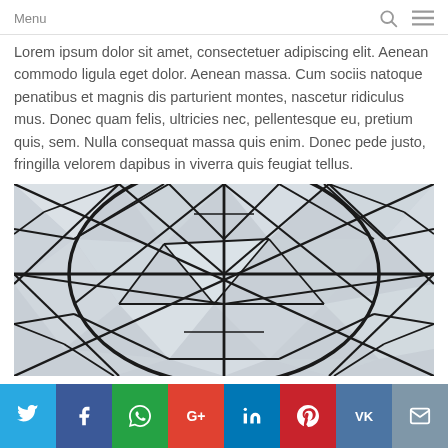Menu
Lorem ipsum dolor sit amet, consectetuer adipiscing elit. Aenean commodo ligula eget dolor. Aenean massa. Cum sociis natoque penatibus et magnis dis parturient montes, nascetur ridiculus mus. Donec quam felis, ultricies nec, pellentesque eu, pretium quis, sem. Nulla consequat massa quis enim. Donec pede justo, fringilla velorem dapibus in viverra quis feugiat tellus.
[Figure (photo): Close-up photo of a geodesic dome or glass roof structure with triangular steel framework panels creating a geometric pattern, viewed from below.]